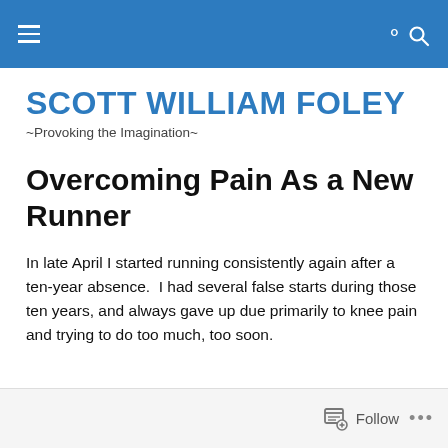SCOTT WILLIAM FOLEY
~Provoking the Imagination~
Overcoming Pain As a New Runner
In late April I started running consistently again after a ten-year absence.  I had several false starts during those ten years, and always gave up due primarily to knee pain and trying to do too much, too soon.
Follow